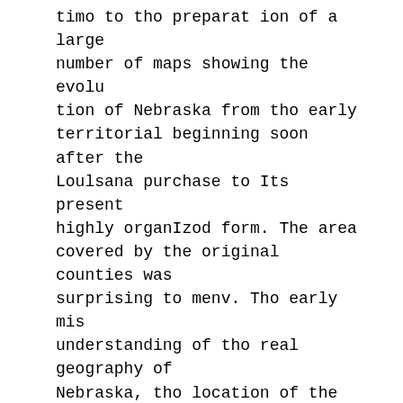timo to tho preparat ion of a large number of maps showing the evolu tion of Nebraska from tho early territorial beginning soon after the Loulsana purchase to Its present highly organIzod form. The area covered by the original counties was surprising to menv. Tho early mis understanding of tho real geography of Nebraska, tho location of the rivers and streams, have been largely cleared up by Mr. Sayre.
Boforo . tho mooting last night a banquet was bold in oonnotolon with tho Horticultural booloty, at tho Llndell. Covers were laid for fifty.
THREE CENTS
ATHLETICS FOR WOMEN.
Thouubject or plmlcal culture is